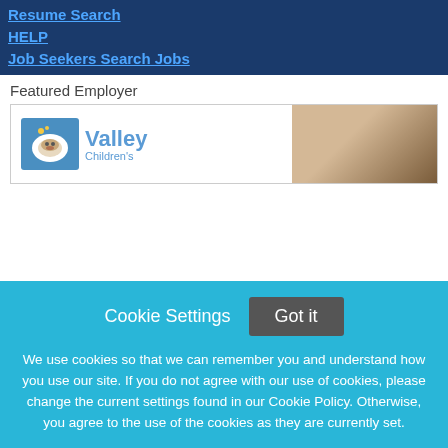Resume Search
HELP
Job Seekers Search Jobs
Featured Employer
[Figure (logo): Valley Children's logo with giraffe icon and 'Valley' text in blue, alongside a blurred photo of a child]
Cookie Settings   Got it

We use cookies so that we can remember you and understand how you use our site. If you do not agree with our use of cookies, please change the current settings found in our Cookie Policy. Otherwise, you agree to the use of the cookies as they are currently set.